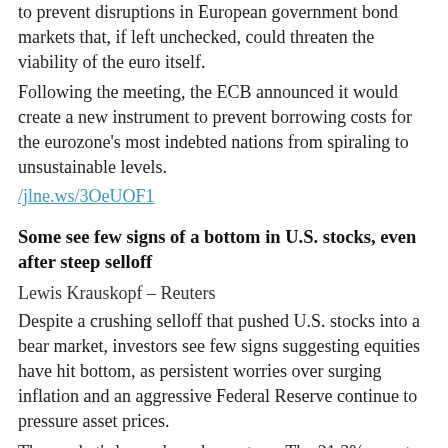to prevent disruptions in European government bond markets that, if left unchecked, could threaten the viability of the euro itself.
Following the meeting, the ECB announced it would create a new instrument to prevent borrowing costs for the eurozone's most indebted nations from spiraling to unsustainable levels.
/jlne.ws/3OeUOF1
Some see few signs of a bottom in U.S. stocks, even after steep selloff
Lewis Krauskopf – Reuters
Despite a crushing selloff that pushed U.S. stocks into a bear market, investors see few signs suggesting equities have hit bottom, as persistent worries over surging inflation and an aggressive Federal Reserve continue to pressure asset prices.
The market's losses have been steep. The 21.3% year-to-date decline in the S&P 500 as of Monday wiped out some $8.7 trillion in market value this year,